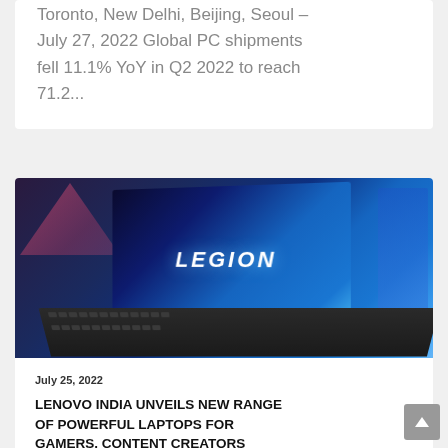Toronto, New Delhi, Beijing, Seoul – July 27, 2022 Global PC shipments fell 11.1% YoY in Q2 2022 to reach 71.2...
[Figure (photo): Lenovo Legion gaming laptop open on a desk, showing the LEGION logo on screen with blue galaxy background. Another laptop visible in background, and a pink umbrella decoration to the left.]
July 25, 2022
LENOVO INDIA UNVEILS NEW RANGE OF POWERFUL LAPTOPS FOR GAMERS, CONTENT CREATORS